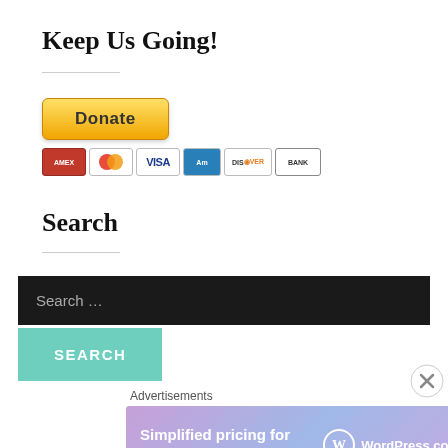Keep Us Going!
[Figure (other): PayPal Donate button with payment icons (Amex, Mastercard, Visa, American Express, Discover, Bank)]
Search
Search ...
SEARCH
Advertisements
[Figure (other): WordPress.com advertisement banner: Simplified pricing for everything you need.]